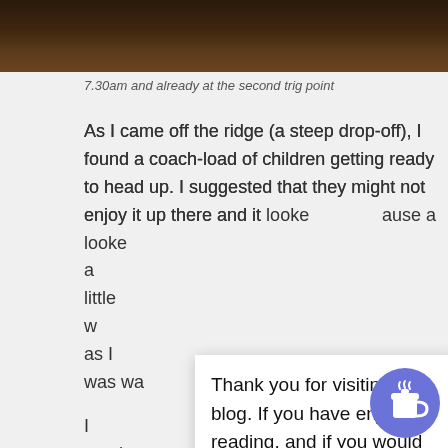[Figure (photo): Dark photo strip at top of page showing a wooden surface or landscape]
7.30am and already at the second trig point
As I came off the ridge (a steep drop-off), I found a coach-load of children getting ready to head up. I suggested that they might not enjoy it up there and it looke...ause a little w...ch as I was wa...
I reach...eady for a cook...ve was open a...slippery bits bu...y g...have w...ne f...sliding over many times. They give me a lot more
Thank you for visiting my blog. If you have enjoyed reading, and if you would like to, you can use this widget to buy me a coffee. No obligation at all!
[Figure (illustration): Blue circular coffee cup buy-me-a-coffee widget button]